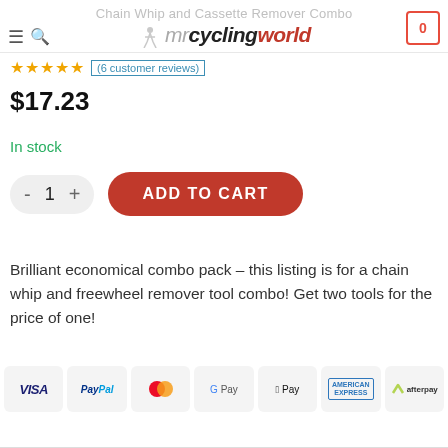Chain Whip and Cassette Remover Combo
★★★★★ (6 customer reviews)
$17.23
In stock
ADD TO CART
Brilliant economical combo pack – this listing is for a chain whip and freewheel remover tool combo! Get two tools for the price of one!
[Figure (infographic): Payment method badges: VISA, PayPal, Mastercard, Google Pay, Apple Pay, American Express, Afterpay]